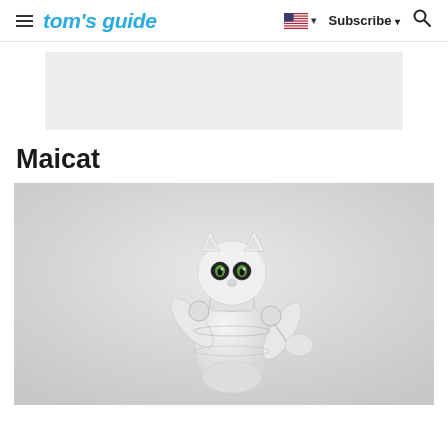tom's guide
[Figure (other): Light gray advertisement banner placeholder]
Maicat
[Figure (photo): White robotic cat toy (Maicat) posed against a light gray/white background, showing cat-like head with green eyes, articulated white body with mechanical joints, raising one arm/paw]